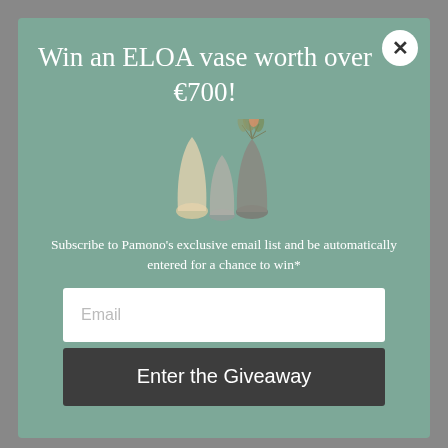Win an ELOA vase worth over €700!
[Figure (illustration): Three decorative glass vases of different sizes and colors — one tall translucent amber, one medium smoky gray, one dark gray — with dried foliage arranged in the tallest vase.]
Subscribe to Pamono's exclusive email list and be automatically entered for a chance to win*
Email
Enter the Giveaway